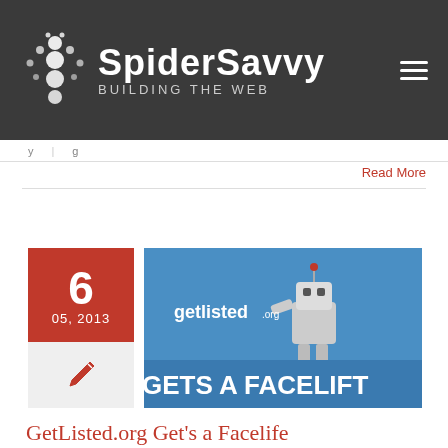[Figure (logo): SpiderSavvy logo with spider icon and text 'SpiderSavvy Building the Web' on dark background header]
Read More
[Figure (screenshot): Blog post thumbnail showing GetListed.org robot mascot on blue background with text 'GETS A FACELIFT']
6
05, 2013
GetListed.org Get's a Facelif...